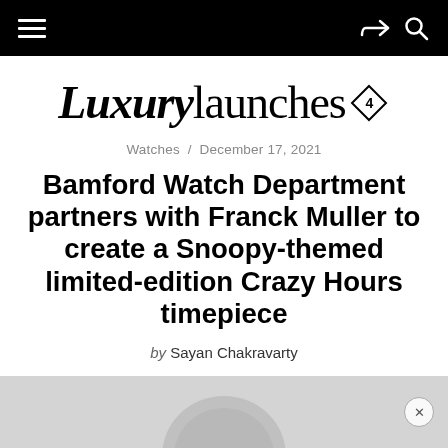Navigation bar with hamburger menu, share icon, and search icon
Luxurylaunches
Watches / December 17, 2021
Bamford Watch Department partners with Franck Muller to create a Snoopy-themed limited-edition Crazy Hours timepiece
by Sayan Chakravarty
[Figure (photo): Partial image of a watch or Snoopy-themed timepiece at the bottom of the page, partially cut off]